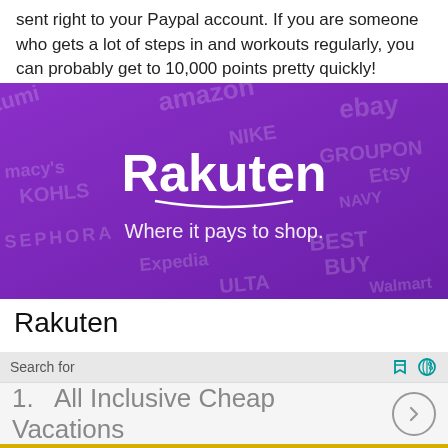sent right to your Paypal account. If you are someone who gets a lot of steps in and workouts regularly, you can probably get to 10,000 points pretty quickly!
[Figure (logo): Rakuten advertisement banner — purple background with brand logos (amazon, ebay, NIKE, GROUPON, Etsy, KOHLS, macy's, SEPHORA, ULTA, Expedia, Walmart, Best Buy, Old Navy) watermarked across background; center text reads 'Rakuten' in large white bold font with 'Where it pays to shop.' below it in white]
Rakuten
Search for
1.  All Inclusive Cheap Vacations